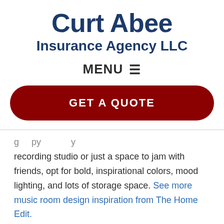Curt Abee
Insurance Agency LLC
MENU ☰
GET A QUOTE
recording studio or just a space to jam with friends, opt for bold, inspirational colors, mood lighting, and lots of storage space. See more music room design inspiration from The Home Edit.